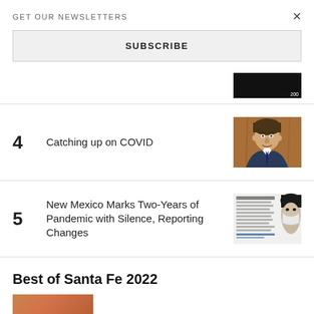GET OUR NEWSLETTERS
SUBSCRIBE
4  Catching up on COVID
5  New Mexico Marks Two-Years of Pandemic with Silence, Reporting Changes
Best of Santa Fe 2022